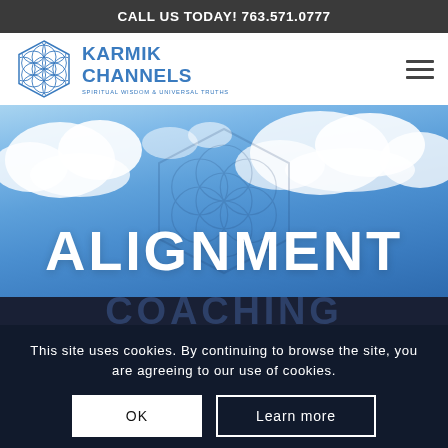CALL US TODAY! 763.571.0777
[Figure (logo): Karmik Channels logo with blue flower of life mandala icon and text 'KARMIK CHANNELS - SPIRITUAL WISDOM & UNIVERSAL TRUTHS']
[Figure (photo): Blue sky with clouds hero image, large white text 'ALIGNMENT' overlaid, with Flower of Life geometric watermark in background]
COACHING
This site uses cookies. By continuing to browse the site, you are agreeing to our use of cookies.
OK
Learn more